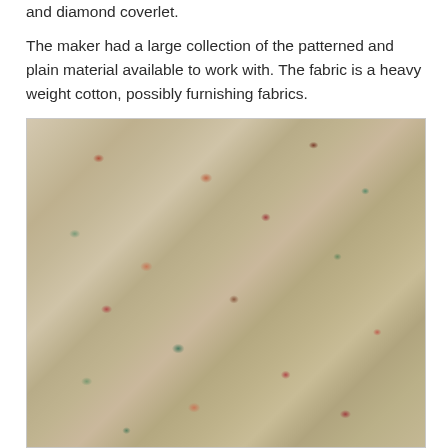Dori, muted colours were used to create this hexagon and diamond coverlet.
The maker had a large collection of the patterned and plain material available to work with. The fabric is a heavy weight cotton, possibly furnishing fabrics.
[Figure (photo): Close-up photograph of a hexagon and diamond coverlet made from heavy weight cotton fabric in muted floral patterns with beige, cream, pink, red, and green tones.]